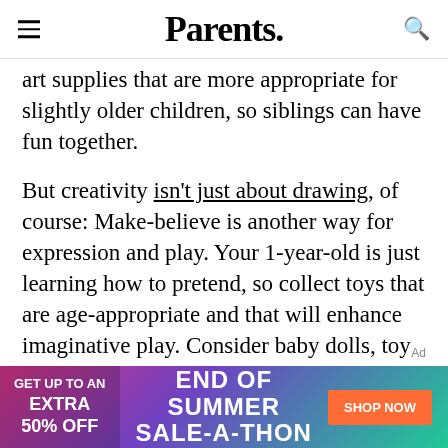Parents.
art supplies that are more appropriate for slightly older children, so siblings can have fun together.
But creativity isn't just about drawing, of course: Make-believe is another way for expression and play. Your 1-year-old is just learning how to pretend, so collect toys that are age-appropriate and that will enhance imaginative play. Consider baby dolls, toy trucks, and play food (although these are usually best for older toddlers, given their small size).
Ad
[Figure (infographic): Advertisement banner: GET UP TO AN EXTRA 50% OFF - END OF SUMMER SALE-A-THON - SHOP NOW button]